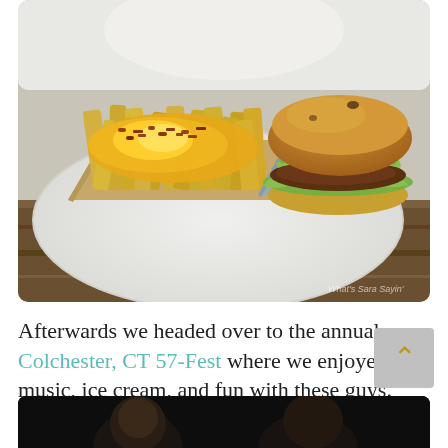[Figure (photo): Photo of a plate with loaded cheese fries in a cardboard tray on the left and a burger with lettuce and bacon in a cardboard tray on the right, set on a white plate on a wooden table]
Afterwards we headed over to the annual Colchester, CT 57-Fest where we enjoyed music, ice cream, and fun with these guys.
[Figure (photo): Partial view of a dark/black background photo at bottom of page, likely showing people at the 57-Fest event]